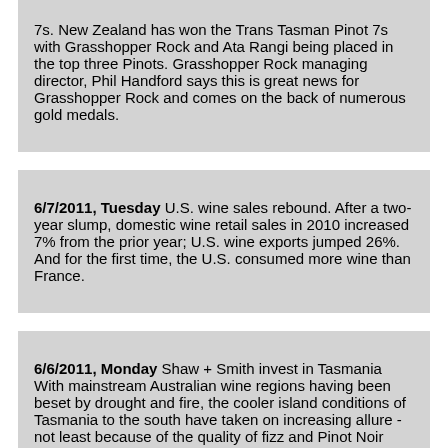7s. New Zealand has won the Trans Tasman Pinot 7s with Grasshopper Rock and Ata Rangi being placed in the top three Pinots. Grasshopper Rock managing director, Phil Handford says this is great news for Grasshopper Rock and comes on the back of numerous gold medals.
6/7/2011, Tuesday U.S. wine sales rebound. After a two-year slump, domestic wine retail sales in 2010 increased 7% from the prior year; U.S. wine exports jumped 26%. And for the first time, the U.S. consumed more wine than France.
6/6/2011, Monday Shaw + Smith invest in Tasmania With mainstream Australian wine regions having been beset by drought and fire, the cooler island conditions of Tasmania to the south have taken on increasing allure - not least because of the quality of fizz and Pinot Noir now emerging from its lush green slopes.
6/3/2011, Friday Francis Ford Coppola is actively working to produce more elegant, lower-alcohol wines at his re-named Inglenook winery.